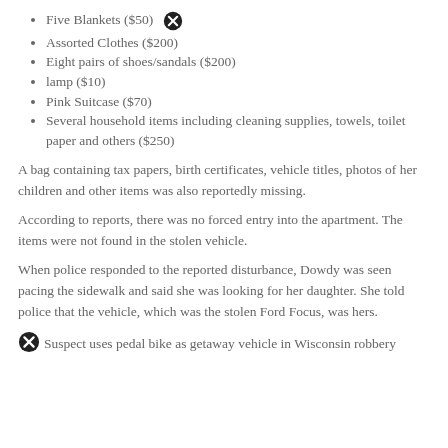Five Blankets ($50)
Assorted Clothes ($200)
Eight pairs of shoes/sandals ($200)
lamp ($10)
Pink Suitcase ($70)
Several household items including cleaning supplies, towels, toilet paper and others ($250)
A bag containing tax papers, birth certificates, vehicle titles, photos of her children and other items was also reportedly missing.
According to reports, there was no forced entry into the apartment. The items were not found in the stolen vehicle.
When police responded to the reported disturbance, Dowdy was seen pacing the sidewalk and said she was looking for her daughter. She told police that the vehicle, which was the stolen Ford Focus, was hers.
Suspect uses pedal bike as getaway vehicle in Wisconsin robbery